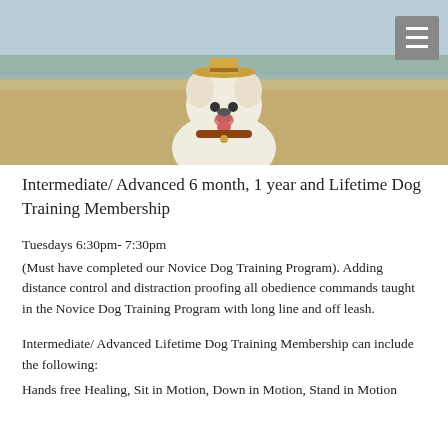[Figure (photo): White dog with brown collar on a beach, smiling, with a hat on top. Menu icon visible in top right corner.]
Intermediate/ Advanced 6 month, 1 year and Lifetime Dog Training Membership
Tuesdays 6:30pm- 7:30pm
(Must have completed our Novice Dog Training Program). Adding distance control and distraction proofing all obedience commands taught in the Novice Dog Training Program with long line and off leash.
Intermediate/ Advanced Lifetime Dog Training Membership can include the following:
Hands free Healing, Sit in Motion, Down in Motion, Stand in Motion